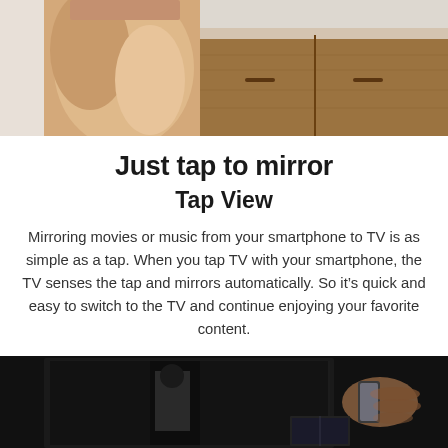[Figure (photo): Top portion of a photo showing a person in a light peach/cream dress near a wooden dresser/sideboard against a light background]
Just tap to mirror
Tap View
Mirroring movies or music from your smartphone to TV is as simple as a tap. When you tap TV with your smartphone, the TV senses the tap and mirrors automatically. So it's quick and easy to switch to the TV and continue enjoying your favorite content.
[Figure (photo): Bottom portion showing a dark TV screen with a person holding a smartphone near it, in a dimly lit room]